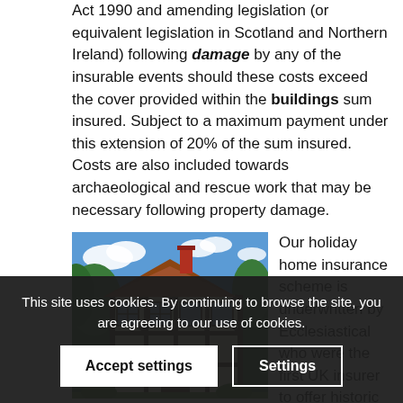Act 1990 and amending legislation (or equivalent legislation in Scotland and Northern Ireland) following damage by any of the insurable events should these costs exceed the cover provided within the buildings sum insured. Subject to a maximum payment under this extension of 20% of the sum insured. Costs are also included towards archaeological and rescue work that may be necessary following property damage.
[Figure (photo): A traditional Tudor-style holiday home with timber framing, red brick chimney, surrounded by green trees and garden under a blue sky with white clouds.]
Our holiday home insurance scheme is underwritten by Ecclesiastical who were the first UK insurer to offer historic heritage and listed buildings more grade 1 listed buildings than any other insurance
This site uses cookies. By continuing to browse the site, you are agreeing to our use of cookies.